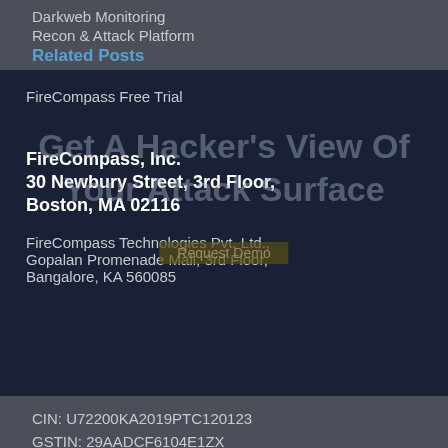Darkweb Monitoring
Recon & Attack Platform
Related Posts
FireCompass Free Trial
[Figure (other): Faded overlay text reading 'Get A Hacker's View Of Your Attack Surface']
FireCompass, Inc.
30 Newbury Street, 3rd Floor,
Boston, MA 02116
FireCompass Technologies Pvt. Ltd.,
Gopalan Promenade Mall, 3rd Floor,
Bangalore, KA 560085
CIN: U72200KA2019PTC120123
GSTIN: 29AADCF6104E1ZX